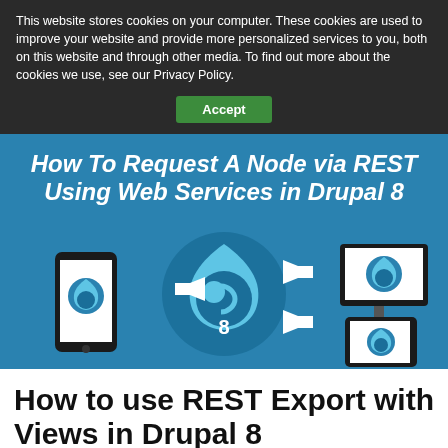This website stores cookies on your computer. These cookies are used to improve your website and provide more personalized services to you, both on this website and through other media. To find out more about the cookies we use, see our Privacy Policy.
[Figure (screenshot): Cookie consent Accept button on dark background]
[Figure (infographic): How To Request A Node via REST Using Web Services in Drupal 8 - banner image showing Drupal 8 logo in center with arrows pointing to a smartphone on the left and a desktop monitor and tablet on the right]
How to use REST Export with Views in Drupal 8